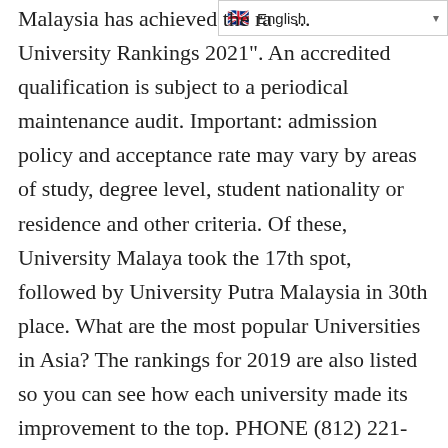[Figure (screenshot): Language selector widget showing English with a flag icon and dropdown arrow]
Malaysia has achieved the ra... University Rankings 2021". An accredited qualification is subject to a periodical maintenance audit. Important: admission policy and acceptance rate may vary by areas of study, degree level, student nationality or residence and other criteria. Of these, University Malaya took the 17th spot, followed by University Putra Malaysia in 30th place. What are the most popular Universities in Asia? The rankings for 2019 are also listed so you can see how each university made its improvement to the top. PHONE (812) 221-1714. Tip: search for Veritas University's facilities and services with the uniRank Search Engine. Veritas University Pre-Degree, IJMB & JUPEB Admission Form 2020/2021 Application; Veritas University Sandwich Programme Admission Form 2020/2021 Application; Veritas University Postgraduate